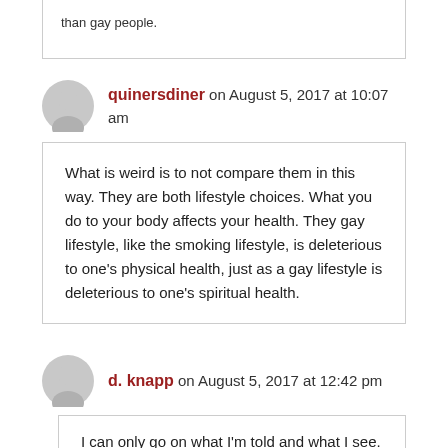than gay people.
quinersdiner on August 5, 2017 at 10:07 am
What is weird is to not compare them in this way. They are both lifestyle choices. What you do to your body affects your health. They gay lifestyle, like the smoking lifestyle, is deleterious to one’s physical health, just as a gay lifestyle is deleterious to one’s spiritual health.
d. knapp on August 5, 2017 at 12:42 pm
I can only go on what I'm told and what I see. That